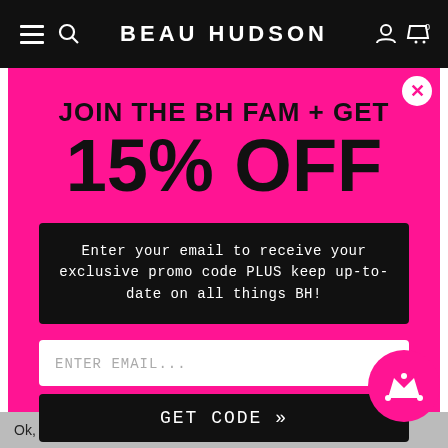BEAU HUDSON
JOIN THE BH FAM + GET 15% OFF
Enter your email to receive your exclusive promo code PLUS keep up-to-date on all things BH!
ENTER EMAIL...
GET CODE »
Ok, got it